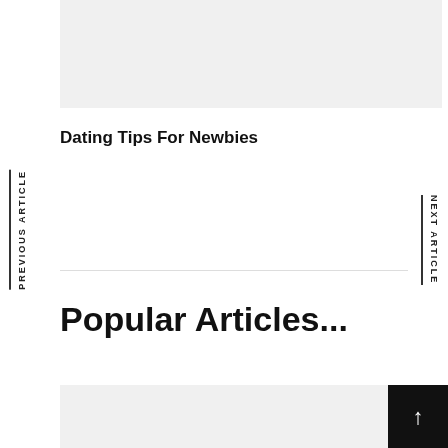[Figure (other): Gray placeholder box at top of page]
PREVIOUS ARTICLE
NEXT ARTICLE
Dating Tips For Newbies
Popular Articles...
[Figure (other): Gray placeholder box at bottom of page]
[Figure (other): Black back-to-top button with upward arrow]